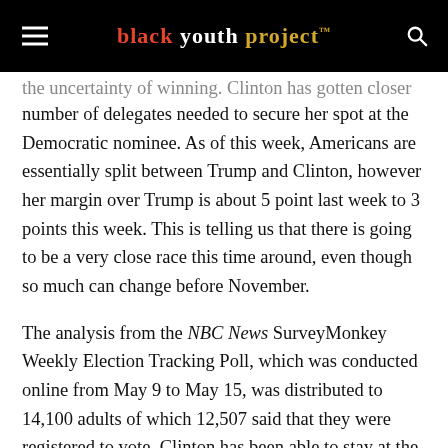black youth project™
the uncertainty of winning. Clinton has gotten closer to the number of delegates needed to secure her spot at the Democratic nominee. As of this week, Americans are essentially split between Trump and Clinton, however her margin over Trump is about 5 point last week to 3 points this week. This is telling us that there is going to be a very close race this time around, even though so much can change before November.
The analysis from the NBC News SurveyMonkey Weekly Election Tracking Poll, which was conducted online from May 9 to May 15, was distributed to 14,100 adults of which 12,507 said that they were registered to vote. Clinton has been able to stay at the top of the Democratic primary because she has won the black and Hispanic voters, and